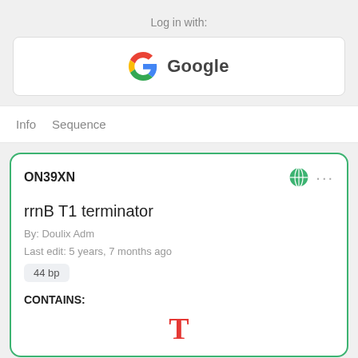Log in with:
[Figure (logo): Google sign-in button with Google G logo and text 'Google']
Info   Sequence
ON39XN
rrnB T1 terminator
By: Doulix Adm
Last edit: 5 years, 7 months ago
44 bp
CONTAINS:
[Figure (other): Red letter T representing a genetic terminator element]